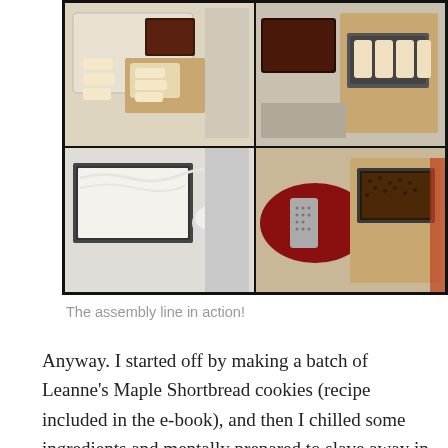[Figure (photo): A 2x2 grid of food preparation photos showing shortbread cookies, dark sauce/liquid in containers, a pan with white cream filling, a mixing bowl with whipped cream, a box grater, and a pan with dark chocolate/nut topping — assembly line cooking steps.]
The assembly line in action!
Anyway. I started off by making a batch of Leanne's Maple Shortbread cookies (recipe included in the e-book), and then I chilled some ingredients and mentally prepared to slave away in the kitchen all day. Let down alert: No slaving was necessary. The prep work for the recipe was surprisingly easy (even for me, who has a hard time